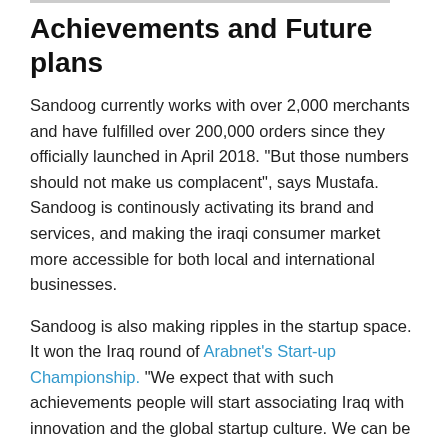Achievements and Future plans
Sandoog currently works with over 2,000 merchants and have fulfilled over 200,000 orders since they officially launched in April 2018. “But those numbers should not make us complacent”, says Mustafa. Sandoog is continously activating its brand and services, and making the iraqi consumer market more accessible for both local and international businesses.
Sandoog is also making ripples in the startup space. It won the Iraq round of Arabnet’s Start-up Championship. “We expect that with such achievements people will start associating Iraq with innovation and the global startup culture. We can be on the forefront of this change.”
The biggest problem that Sandoog wants to solve is not